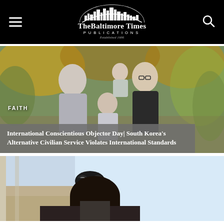The Baltimore Times Publications — Established 1986
[Figure (photo): Family photo: Asian woman with two young children and a man wearing glasses, standing outdoors with autumn foliage in background. FAITH label overlaid on image. Article title box overlay at bottom.]
International Conscientious Objector Day| South Korea's Alternative Civilian Service Violates International Standards
[Figure (photo): Partial view of a person appearing to be a pilot or aviator with equipment visible, inside a cockpit or vehicle.]